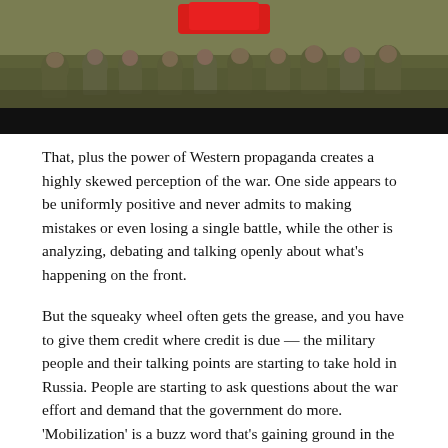[Figure (photo): Group of soldiers in military fatigues posing outdoors on grass, with a red shape visible at top center; a black bar overlays the lower portion of the image.]
That, plus the power of Western propaganda creates a highly skewed perception of the war. One side appears to be uniformly positive and never admits to making mistakes or even losing a single battle, while the other is analyzing, debating and talking openly about what’s happening on the front.
But the squeaky wheel often gets the grease, and you have to give them credit where credit is due — the military people and their talking points are starting to take hold in Russia. People are starting to ask questions about the war effort and demand that the government do more. ‘Mobilization’ is a buzz word that’s gaining ground in the